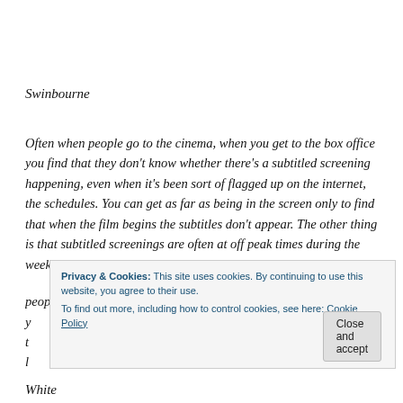Swinbourne
Often when people go to the cinema, when you get to the box office you find that they don't know whether there's a subtitled screening happening, even when it's been sort of flagged up on the internet, the schedules. You can get as far as being in the screen only to find that when the film begins the subtitles don't appear. The other thing is that subtitled screenings are often at off peak times during the week when people are at work, it's more rarely in the evening, more rarely at the...
Privacy & Cookies: This site uses cookies. By continuing to use this website, you agree to their use.
To find out more, including how to control cookies, see here: Cookie Policy
White